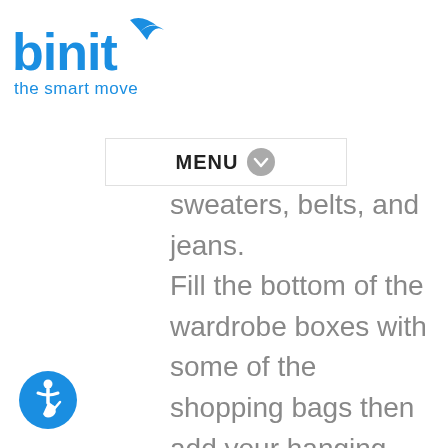[Figure (logo): Binit logo with blue text and bird icon, tagline 'the smart move']
MENU
sweaters, belts, and jeans. Fill the bottom of the wardrobe boxes with some of the shopping bags then add your hanging clothes. Pack hanging items tightly so things won't move around and fall off the hangers. You'll have fewer boxes, and closet items remain together. Also, the shopping bags will
[Figure (illustration): Blue circle with wheelchair accessibility icon]